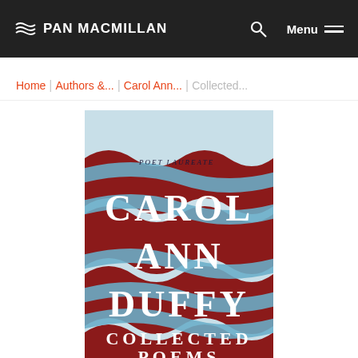PAN MACMILLAN
Home | Authors &... | Carol Ann... | Collected...
[Figure (illustration): Book cover of 'Collected Poems' by Carol Ann Duffy (Poet Laureate), featuring wavy red and blue ribbons/bands with white serif text against a light blue background. Published by Pan Macmillan.]